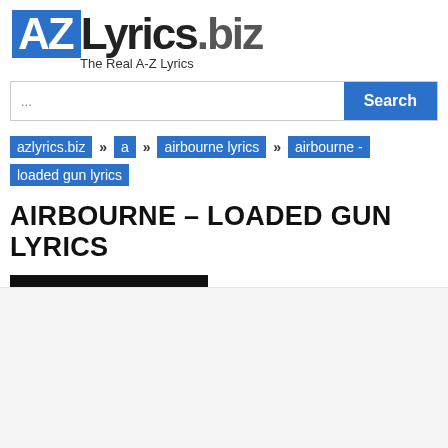[Figure (logo): AZLyrics.biz logo with tagline 'The Real A-Z Lyrics']
...
azlyrics.biz » a » airbourne lyrics » airbourne - loaded gun lyrics
AIRBOURNE – LOADED GUN LYRICS
Play Music Video